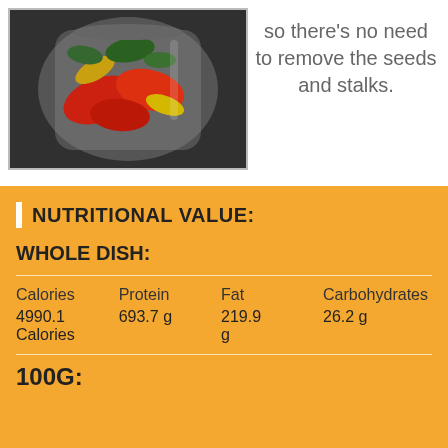[Figure (photo): A glass blender cup filled with red peppers, basil leaves, and other vegetables on a dark surface]
so there's no need to remove the seeds and stalks.
NUTRITIONAL VALUE:
WHOLE DISH:
| Calories | Protein | Fat | Carbohydrates |
| --- | --- | --- | --- |
| 4990.1 Calories | 693.7 g | 219.9 g | 26.2 g |
100G: